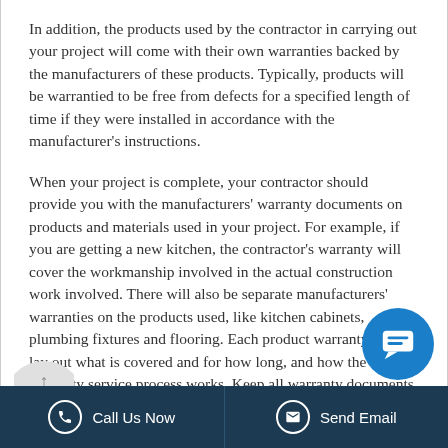In addition, the products used by the contractor in carrying out your project will come with their own warranties backed by the manufacturers of these products. Typically, products will be warrantied to be free from defects for a specified length of time if they were installed in accordance with the manufacturer's instructions.
When your project is complete, your contractor should provide you with the manufacturers' warranty documents on products and materials used in your project. For example, if you are getting a new kitchen, the contractor's warranty will cover the workmanship involved in the actual construction work involved. There will also be separate manufacturers' warranties on the products used, like kitchen cabinets, plumbing fixtures and flooring. Each product warranty will lay out what is covered and for how long, and how the warranty service process works. Keep all warranty documents in a secure place in case they are needed in the future.
Call Us Now | Send Email